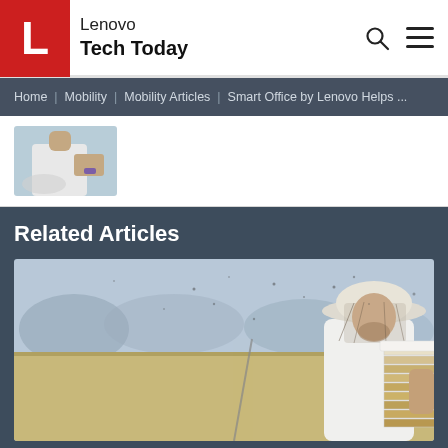Lenovo Tech Today
Home | Mobility | Mobility Articles | Smart Office by Lenovo Helps ...
[Figure (photo): Partial thumbnail image of a person wearing white shirt and purple wristband]
Related Articles
[Figure (photo): A beekeeper wearing a white protective suit and wide-brimmed hat with netting, carrying a white beehive box covered in honeycomb, standing in an arid open field]